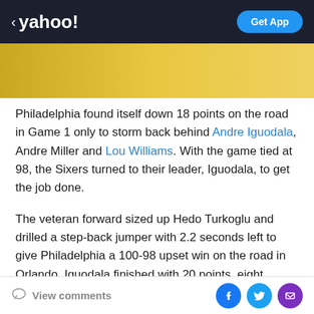< yahoo! | Get App
[Figure (other): Yellow gradient banner with dark purple top border line on left side]
Philadelphia found itself down 18 points on the road in Game 1 only to storm back behind Andre Iguodala, Andre Miller and Lou Williams. With the game tied at 98, the Sixers turned to their leader, Iguodala, to get the job done.
The veteran forward sized up Hedo Turkoglu and drilled a step-back jumper with 2.2 seconds left to give Philadelphia a 100-98 upset win on the road in Orlando. Iguodala finished with 20 points, eight rebounds and eight assists in the winning effort.
View comments | Facebook | Twitter | Email